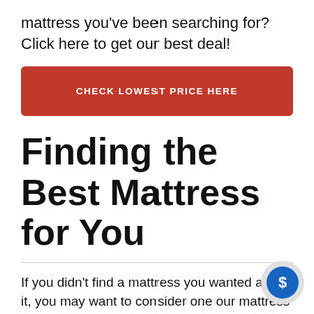mattress you've been searching for? Click here to get our best deal!
CHECK LOWEST PRICE HERE
Finding the Best Mattress for You
If you didn't find a mattress you wanted above it, you may want to consider one our mattress guides that are more spec Here are some of my suggestions based on